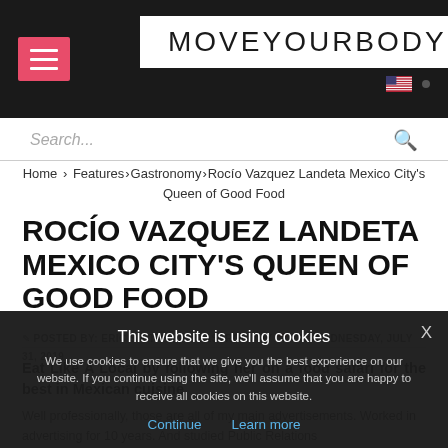MOVEYOURBODY
Search...
Home > Features > Gastronomy > Rocío Vazquez Landeta Mexico City's Queen of Good Food
ROCÍO VAZQUEZ LANDETA MEXICO CITY'S QUEEN OF GOOD FOOD
POSTED BY: ERIC SMITH  IN: GASTRONOMY  ON: WEDNESDAY, JULY 31, 2019
Eat Like A Local by following her on a food safari for the best in Mexican cuisine.
This website is using cookies
We use cookies to ensure that we give you the best experience on our website. If you continue using the site, we'll assume that you are happy to receive all cookies on this website.
Continue  Learn more